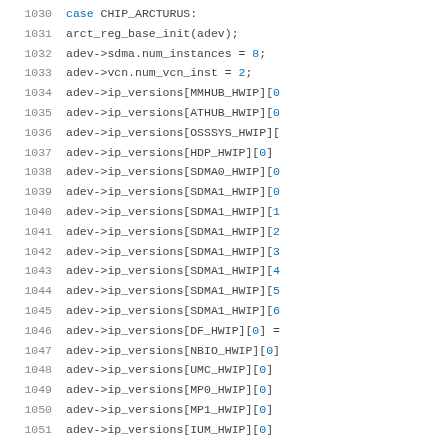Source code listing, lines 1030-1051, C code for CHIP_ARCTURUS case initialization setting adev ip_versions for various hardware IPs